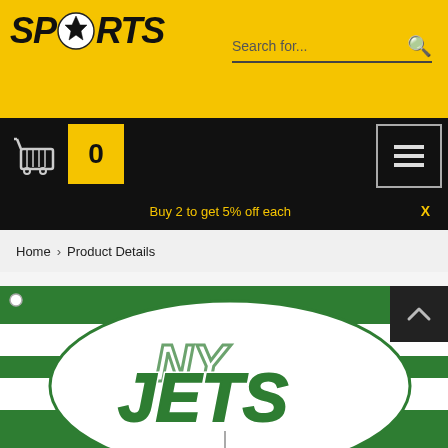SPORTS logo with search bar
SPORTS
Search for...
0
Buy 2 to get 5% off each
X
Home > Product Details
[Figure (photo): New York Jets flag with green and white stripes and NY Jets logo on a football-shaped oval graphic]